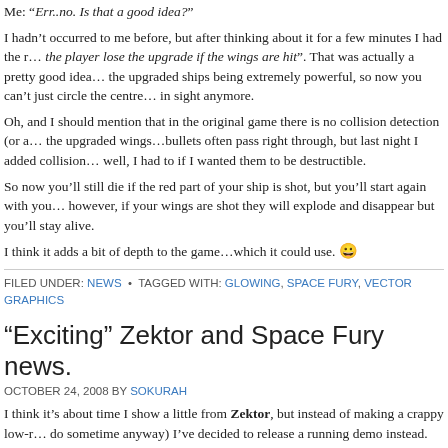Me: “Err..no. Is that a good idea?”
I hadn’t occurred to me before, but after thinking about it for a few minutes I had the idea to make the player lose the upgrade if the wings are hit”. That was actually a pretty good idea, what with the upgraded ships being extremely powerful, so now you can’t just circle the centre and shoot everything in sight anymore.
Oh, and I should mention that in the original game there is no collision detection (or at least not for the upgraded wings…bullets often pass right through, but last night I added collision detection, well, I had to if I wanted them to be destructible.
So now you’ll still die if the red part of your ship is shot, but you’ll start again with your wings intact; however, if your wings are shot they will explode and disappear but you’ll stay alive.
I think it adds a bit of depth to the game…which it could use. 😀
FILED UNDER: NEWS • TAGGED WITH: GLOWING, SPACE FURY, VECTOR GRAPHICS
“Exciting” Zektor and Space Fury news.
OCTOBER 24, 2008 BY SOKURAH
I think it’s about time I show a little from Zektor, but instead of making a crappy low-r... (do sometime anyway) I’ve decided to release a running demo instead.